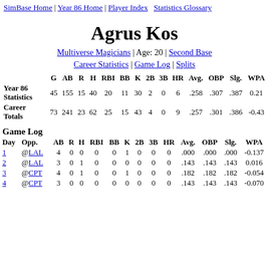SimBase Home | Year 86 Home | Player Index  Statistics Glossary
Agrus Kos
Multiverse Magicians | Age: 20 | Second Base
Career Statistics | Game Log | Splits
|  | G | AB | R | H | RBI | BB | K | 2B | 3B | HR | Avg. | OBP | Slg. | WPA |
| --- | --- | --- | --- | --- | --- | --- | --- | --- | --- | --- | --- | --- | --- | --- |
| Year 86 Statistics | 45 | 155 | 15 | 40 | 20 | 11 | 30 | 2 | 0 | 6 | .258 | .307 | .387 | 0.21 |
| Career Totals | 73 | 241 | 23 | 62 | 25 | 15 | 43 | 4 | 0 | 9 | .257 | .301 | .386 | -0.43 |
Game Log
| Day | Opp. | AB | R | H | RBI | BB | K | 2B | 3B | HR | Avg. | OBP | Slg. | WPA |
| --- | --- | --- | --- | --- | --- | --- | --- | --- | --- | --- | --- | --- | --- | --- |
| 1 | @LAL | 4 | 0 | 0 | 0 | 0 | 1 | 0 | 0 | 0 | .000 | .000 | .000 | -0.137 |
| 2 | @LAL | 3 | 0 | 1 | 0 | 0 | 0 | 0 | 0 | 0 | .143 | .143 | .143 | 0.016 |
| 3 | @CPT | 4 | 0 | 1 | 0 | 0 | 1 | 0 | 0 | 0 | .182 | .182 | .182 | -0.054 |
| 4 | @CPT | 3 | 0 | 0 | 0 | 0 | 0 | 0 | 0 | 0 | .143 | .143 | .143 | -0.070 |